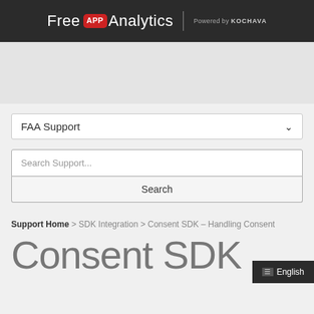Free APP Analytics | Powered by KOCHAVA
[Figure (screenshot): Gray banner/navigation area placeholder]
FAA Support
Search Support...
Search
Support Home > SDK Integration > Consent SDK – Handling Consent
Consent SDK